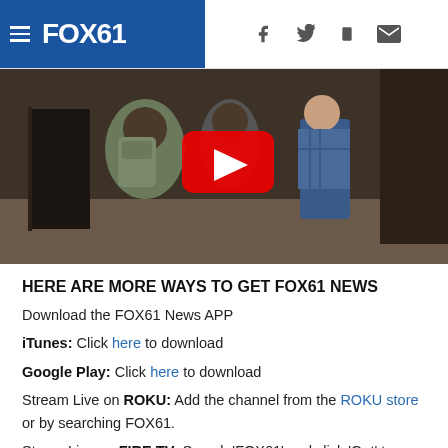FOX61 header with navigation icons
[Figure (screenshot): Video thumbnail showing people walking in a hallway with a YouTube play button overlay]
HERE ARE MORE WAYS TO GET FOX61 NEWS
Download the FOX61 News APP
iTunes: Click here to download
Google Play: Click here to download
Stream Live on ROKU: Add the channel from the ROKU store or by searching FOX61.
Steam Live on FIRE TV: Search ‘FOX61’ and click ‘Get’ to download.